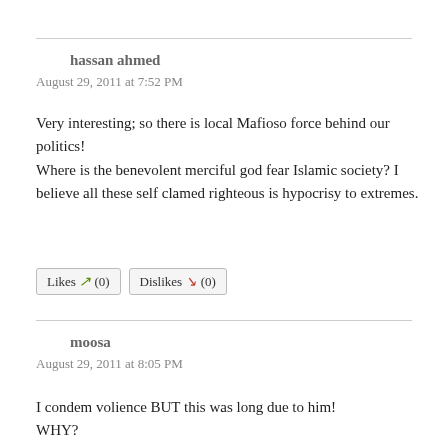hassan ahmed
August 29, 2011 at 7:52 PM
Very interesting; so there is local Mafioso force behind our politics!
Where is the benevolent merciful god fear Islamic society? I believe all these self clamed righteous is hypocrisy to extremes.
Likes (0)   Dislikes (0)
moosa
August 29, 2011 at 8:05 PM
I condem volience BUT this was long due to him! WHY?